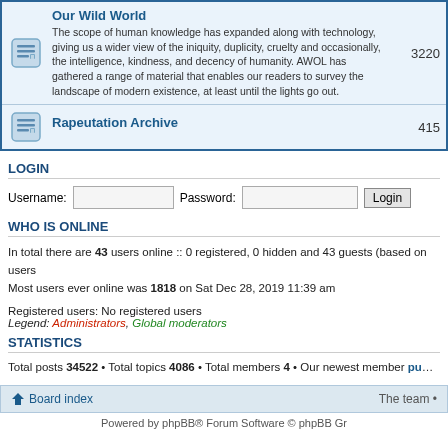Our Wild World — 3220
The scope of human knowledge has expanded along with technology, giving us a wider view of the iniquity, duplicity, cruelty and occasionally, the intelligence, kindness, and decency of humanity. AWOL has gathered a range of material that enables our readers to survey the landscape of modern existence, at least until the lights go out.
Rapeutation Archive — 415
LOGIN
Username: [input] Password: [input] Login
WHO IS ONLINE
In total there are 43 users online :: 0 registered, 0 hidden and 43 guests (based on users
Most users ever online was 1818 on Sat Dec 28, 2019 11:39 am
Registered users: No registered users
Legend: Administrators, Global moderators
STATISTICS
Total posts 34522 • Total topics 4086 • Total members 4 • Our newest member punklaw
Board index   The team •
Powered by phpBB® Forum Software © phpBB Gr